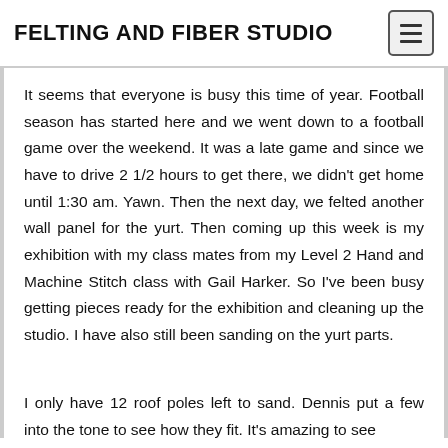FELTING AND FIBER STUDIO
It seems that everyone is busy this time of year. Football season has started here and we went down to a football game over the weekend. It was a late game and since we have to drive 2 1/2 hours to get there, we didn't get home until 1:30 am. Yawn. Then the next day, we felted another wall panel for the yurt. Then coming up this week is my exhibition with my class mates from my Level 2 Hand and Machine Stitch class with Gail Harker. So I've been busy getting pieces ready for the exhibition and cleaning up the studio. I have also still been sanding on the yurt parts.
I only have 12 roof poles left to sand. Dennis put a few into the tone to see how they fit. It's amazing to see